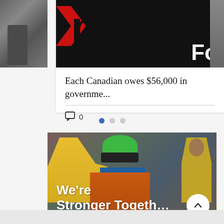[Figure (screenshot): Partially visible photo on the left side showing a person figure in dark tones]
[Figure (screenshot): Card with banner showing bold 'pay' text with red chevron/arrow graphic and 'Fo' text on dark background]
Each Canadian owes $56,000 in governme...
0
[Figure (screenshot): Navigation dots indicator with three circles, first filled/active in blue, two inactive in grey]
[Figure (photo): Photo of smiling older woman wearing green hard hat, safety glasses, orange and blue high-visibility vest, with workers in yellow vests in background. Overlaid text reads 'We're Stronger Togeth...' with a scroll-up button.]